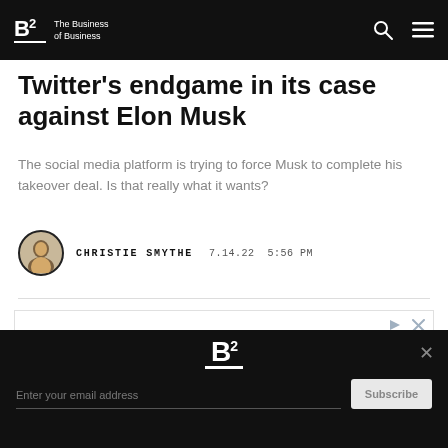B2 The Business of Business
Twitter's endgame in its case against Elon Musk
The social media platform is trying to force Musk to complete his takeover deal. Is that really what it wants?
CHRISTIE SMYTHE   7.14.22  5:56 PM
[Figure (logo): avidxchange logo advertisement]
Enter your email address   Subscribe